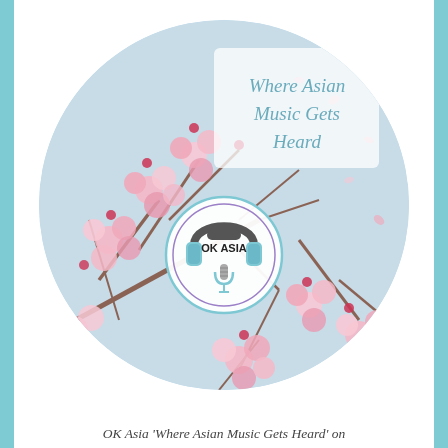[Figure (illustration): Circular image of pink cherry blossoms against a light blue sky, with 'Where Asian Music Gets Heard' text overlay and OK Asia podcast logo (headphones with microphone) in the center]
OK Asia 'Where Asian Music Gets Heard' on